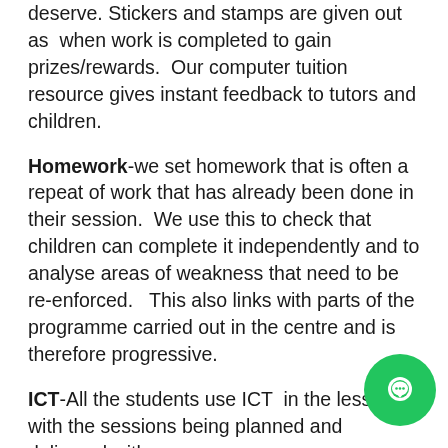deserve. Stickers and stamps are given out as when work is completed to gain prizes/rewards. Our computer tuition resource gives instant feedback to tutors and children.
Homework-we set homework that is often a repeat of work that has already been done in their session. We use this to check that children can complete it independently and to analyse areas of weakness that need to be re-enforced. This also links with parts of the programme carried out in the centre and is therefore progressive.
ICT-All the students use ICT in the lessons with the sessions being planned and delivered with our numeracy programme. This includes a combination of written and computer activities, but all marking and progress is recorded. Right and wrong answers can be tracked. Many of the activities are first written and then re-enforced with a computer activity.